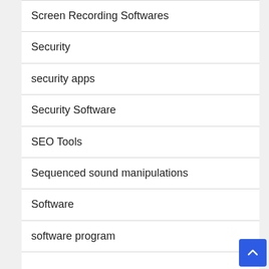Screen Recording Softwares
Security
security apps
Security Software
SEO Tools
Sequenced sound manipulations
Software
software program